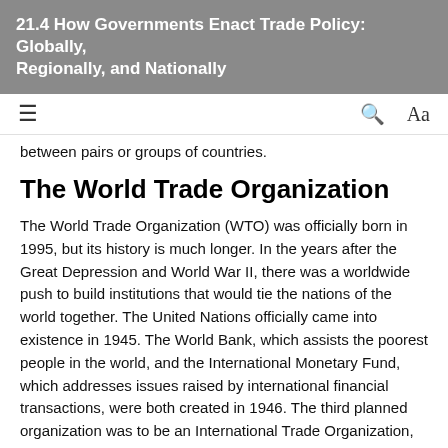21.4 How Governments Enact Trade Policy: Globally, Regionally, and Nationally
between pairs or groups of countries.
The World Trade Organization
The World Trade Organization (WTO) was officially born in 1995, but its history is much longer. In the years after the Great Depression and World War II, there was a worldwide push to build institutions that would tie the nations of the world together. The United Nations officially came into existence in 1945. The World Bank, which assists the poorest people in the world, and the International Monetary Fund, which addresses issues raised by international financial transactions, were both created in 1946. The third planned organization was to be an International Trade Organization, which would manage international trade. The United Nations was unable to